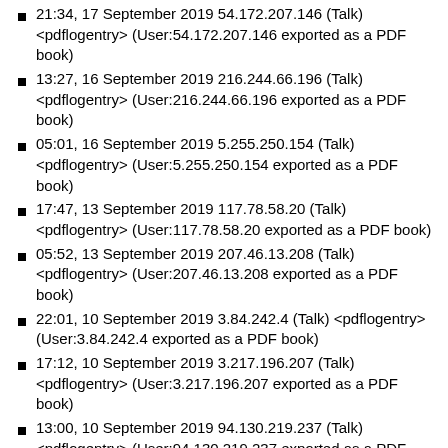21:34, 17 September 2019 54.172.207.146 (Talk) <pdflogentry> (User:54.172.207.146 exported as a PDF book)
13:27, 16 September 2019 216.244.66.196 (Talk) <pdflogentry> (User:216.244.66.196 exported as a PDF book)
05:01, 16 September 2019 5.255.250.154 (Talk) <pdflogentry> (User:5.255.250.154 exported as a PDF book)
17:47, 13 September 2019 117.78.58.20 (Talk) <pdflogentry> (User:117.78.58.20 exported as a PDF book)
05:52, 13 September 2019 207.46.13.208 (Talk) <pdflogentry> (User:207.46.13.208 exported as a PDF book)
22:01, 10 September 2019 3.84.242.4 (Talk) <pdflogentry> (User:3.84.242.4 exported as a PDF book)
17:12, 10 September 2019 3.217.196.207 (Talk) <pdflogentry> (User:3.217.196.207 exported as a PDF book)
13:00, 10 September 2019 94.130.219.237 (Talk) <pdflogentry> (User:94.130.219.237 exported as a PDF book)
16:19, 9 September 2019 216.244.66.196 (Talk) <pdflogentry> (User:216.244.66.196 exported as a PDF book)